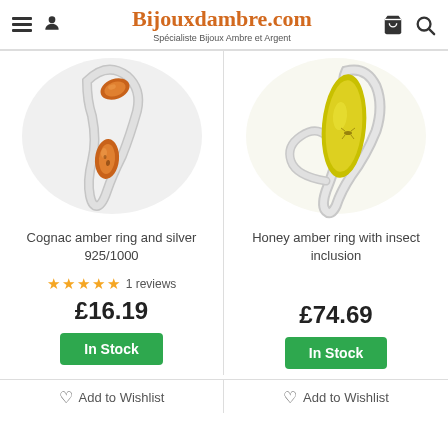Bijouxdambre.com — Spécialiste Bijoux Ambre et Argent
[Figure (photo): Cognac amber ring and silver 925/1000 product photo — silver ring with two cognac/orange amber teardrop stones]
[Figure (photo): Honey amber ring with insect inclusion product photo — silver ring with large oval honey/yellow amber stone with insect inclusion]
Cognac amber ring and silver 925/1000
Honey amber ring with insect inclusion
★★★★★ 1 reviews
£16.19
£74.69
In Stock
In Stock
Add to Wishlist
Add to Wishlist